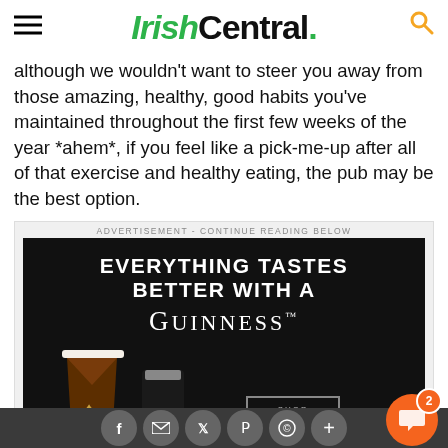IrishCentral.
although we wouldn't want to steer you away from those amazing, healthy, good habits you've maintained throughout the first few weeks of the year *ahem*, if you feel like a pick-me-up after all of that exercise and healthy eating, the pub may be the best option.
[Figure (photo): Guinness advertisement: 'Everything tastes better with a Guinness' with pint glass, can, and shop Guinness Draught product imagery on black background.]